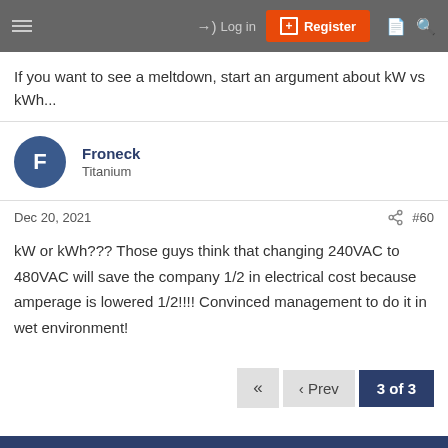Log in | Register
If you want to see a meltdown, start an argument about kW vs kWh...
Froneck
Titanium
Dec 20, 2021  #60
kW or kWh??? Those guys think that changing 240VAC to 480VAC will save the company 1/2 in electrical cost because amperage is lowered 1/2!!!! Convinced management to do it in wet environment!
3 of 3